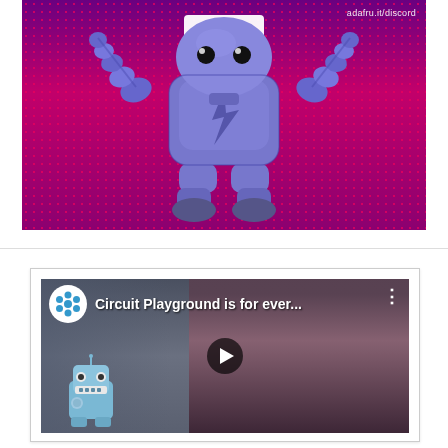[Figure (illustration): Purple/blue 3D robot character standing front-facing, holding a white rectangle, set against a magenta/pink polka-dot pattern background on a purple-to-magenta gradient. Text 'adafru.it/discord' appears in the top right corner.]
[Figure (screenshot): YouTube video thumbnail showing a woman with pink hair and glasses sitting in a workshop/makerspace setting, with a blue toy robot in the foreground. Video title reads 'Circuit Playground is for ever...' with Adafruit channel icon (blue star flower). A play button is visible in the center.]